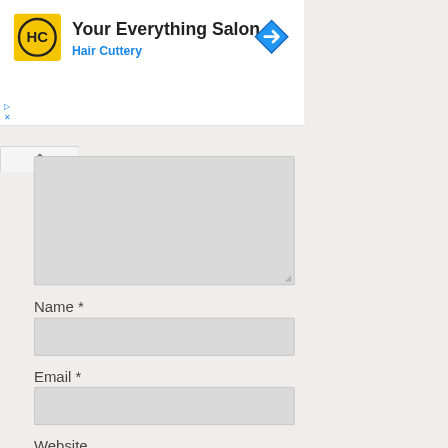[Figure (logo): Hair Cuttery HC yellow/black logo icon]
Your Everything Salon
Hair Cuttery
[Figure (other): Blue diamond navigation/directions icon]
▷
×
[Figure (screenshot): Textarea input field (gray, empty, resizable)]
Name *
[Figure (screenshot): Name text input field (gray, empty)]
Email *
[Figure (screenshot): Email text input field (gray, empty)]
Website
[Figure (screenshot): Website text input field (gray, empty)]